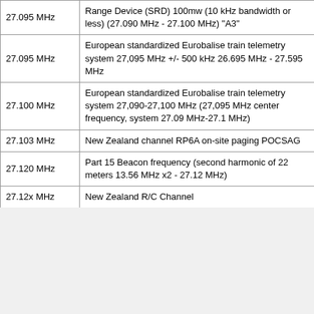|  | Frequency | Description |
| --- | --- | --- |
|  | 27.095 MHz | Range Device (SRD) 100mw (10 kHz bandwidth or less) (27.090 MHz - 27.100 MHz) "A3" |
|  | 27.095 MHz | European standardized Eurobalise train telemetry system 27,095 MHz +/- 500 kHz 26.695 MHz - 27.595 MHz |
|  | 27.100 MHz | European standardized Eurobalise train telemetry system 27,090-27,100 MHz (27,095 MHz center frequency, system 27.09 MHz-27.1 MHz) |
|  | 27.103 MHz | New Zealand channel RP6A on-site paging POCSAG |
|  | 27.120 MHz | Part 15 Beacon frequency (second harmonic of 22 meters 13.56 MHz x2 - 27.12 MHz) |
|  | 27.12x MHz | New Zealand R/C Channel |